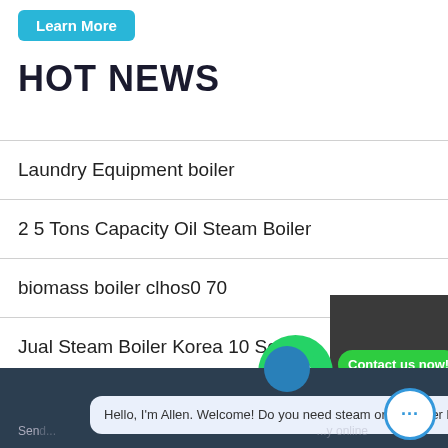Learn More
HOT NEWS
Laundry Equipment boiler
2 5 Tons Capacity Oil Steam Boiler
biomass boiler clhos0 70
Jual Steam Boiler Korea 10 Setrika
0 5 MW Quality natural gas steam boiler
Huskpac Steam Boiler Model No...b
[Figure (screenshot): WhatsApp chat widget with green phone icon and 'Contact us now!' button, plus chat sidebar with Chat, Email, Contact options, and bottom chat bar with Allen greeting message.]